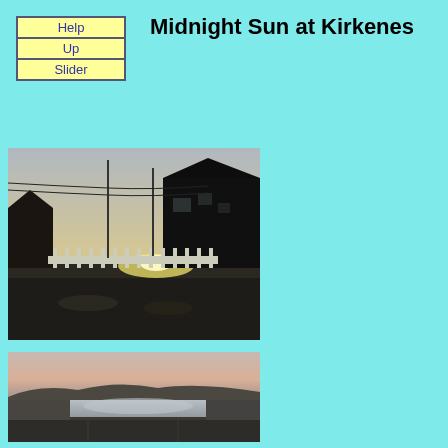| Help |
| Up |
| Slider |
Midnight Sun at Kirkenes
[Figure (photo): Midnight sun scene at Kirkenes: a residential street with houses, white picket fence, utility poles with wires, and sun low on the horizon glowing orange-yellow against a pale sky.]
[Figure (photo): Midnight sun over water at Kirkenes: a wide flat landscape with a reflective water body or mudflat in the middle, low hills in the background, pale pinkish sky, and a road or path in the foreground.]